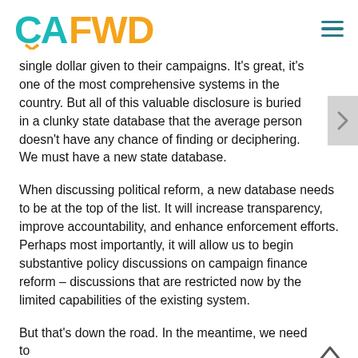CA FWD
single dollar given to their campaigns. It's great, it's one of the most comprehensive systems in the country. But all of this valuable disclosure is buried in a clunky state database that the average person doesn't have any chance of finding or deciphering. We must have a new state database.
When discussing political reform, a new database needs to be at the top of the list. It will increase transparency, improve accountability, and enhance enforcement efforts. Perhaps most importantly, it will allow us to begin substantive policy discussions on campaign finance reform – discussions that are restricted now by the limited capabilities of the existing system.
But that's down the road. In the meantime, we need to continue to find alternatives to increase transparency...